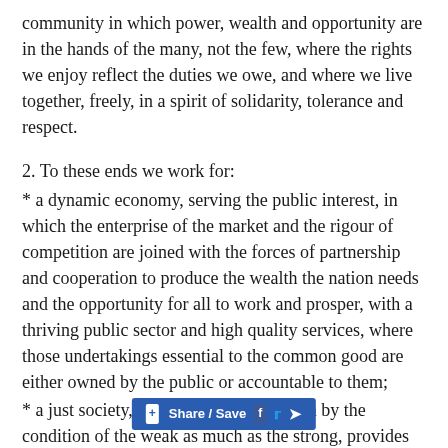community in which power, wealth and opportunity are in the hands of the many, not the few, where the rights we enjoy reflect the duties we owe, and where we live together, freely, in a spirit of solidarity, tolerance and respect.
2. To these ends we work for:
* a dynamic economy, serving the public interest, in which the enterprise of the market and the rigour of competition are joined with the forces of partnership and cooperation to produce the wealth the nation needs and the opportunity for all to work and prosper, with a thriving public sector and high quality services, where those undertakings essential to the common good are either owned by the public or accountable to them;
* a just society, which judges its strength by the condition of the weak as much as the strong, provides security against fear, and justice at work; which nurtures families, promotes equality of opportunity and delivers people from the tyranny of poverty, prejudice and the abuse of power;